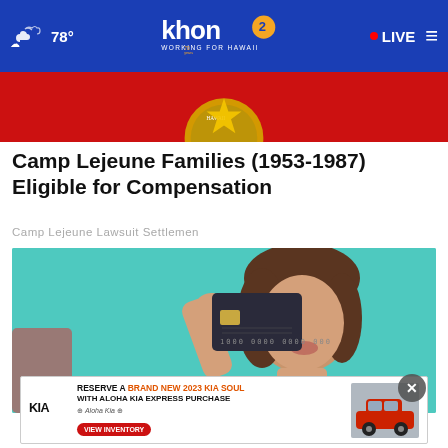khon2 WORKING FOR HAWAII — 78° LIVE
[Figure (screenshot): Partial Hawaii state seal on red banner background]
Camp Lejeune Families (1953-1987) Eligible for Compensation
Camp Lejeune Lawsuit Settlemen
[Figure (photo): Young woman holding a dark credit card in front of one eye, teal/turquoise background]
[Figure (infographic): KIA advertisement: RESERVE A BRAND NEW 2023 KIA SOUL WITH ALOHA KIA EXPRESS PURCHASE — VIEW INVENTORY button, with red KIA Soul car image]